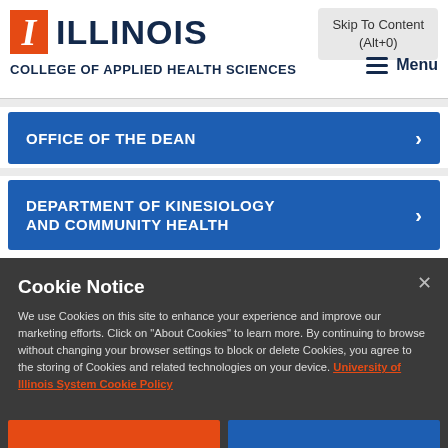Skip To Content (Alt+0)
I ILLINOIS
COLLEGE OF APPLIED HEALTH SCIENCES
Menu
OFFICE OF THE DEAN
DEPARTMENT OF KINESIOLOGY AND COMMUNITY HEALTH
Cookie Notice
We use Cookies on this site to enhance your experience and improve our marketing efforts. Click on "About Cookies" to learn more. By continuing to browse without changing your browser settings to block or delete Cookies, you agree to the storing of Cookies and related technologies on your device. University of Illinois System Cookie Policy